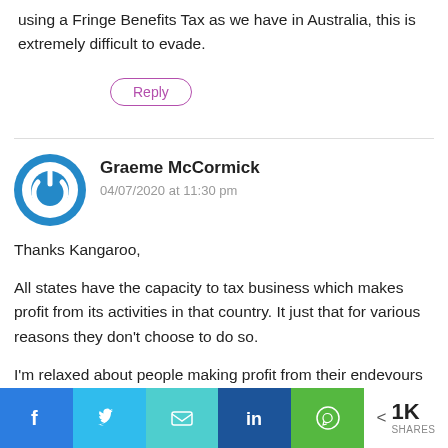using a Fringe Benefits Tax as we have in Australia, this is extremely difficult to evade.
Reply
[Figure (illustration): Blue circular power button avatar icon for user Graeme McCormick]
Graeme McCormick
04/07/2020 at 11:30 pm
Thanks Kangaroo,
All states have the capacity to tax business which makes profit from its activities in that country. It just that for various reasons they don't choose to do so.
I'm relaxed about people making profit from their endevours in Scotland even if they don't spend it on buying a lot of land in Scotland. I'd expect that they would be inclinded to use their profits in reinvesting in
[Figure (infographic): Social media share bar with Facebook, Twitter, Email, LinkedIn, WhatsApp buttons and 1K SHARES count]